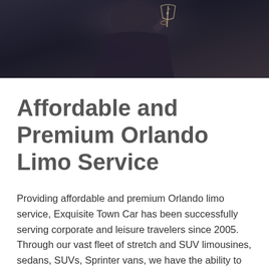[Figure (photo): A photo of a person in black attire holding a champagne glass, with dark background]
Affordable and Premium Orlando Limo Service
Providing affordable and premium Orlando limo service, Exquisite Town Car has been successfully serving corporate and leisure travelers since 2005. Through our vast fleet of stretch and SUV limousines, sedans, SUVs, Sprinter vans, we have the ability to provide ground transportation and limo service in Orlando, Port Canaveral and throughout the state of Florida. Whether you are looking for transportation from Orlando International Airport or you are in need